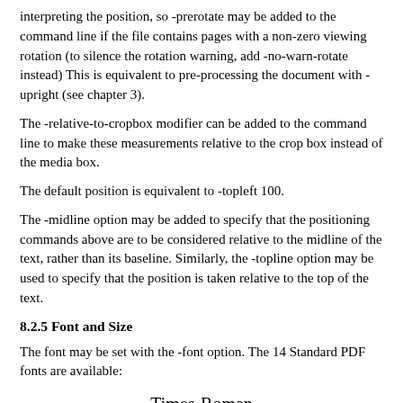interpreting the position, so -prerotate may be added to the command line if the file contains pages with a non-zero viewing rotation (to silence the rotation warning, add -no-warn-rotate instead) This is equivalent to pre-processing the document with -upright (see chapter 3).
The -relative-to-cropbox modifier can be added to the command line to make these measurements relative to the crop box instead of the media box.
The default position is equivalent to -topleft 100.
The -midline option may be added to specify that the positioning commands above are to be considered relative to the midline of the text, rather than its baseline. Similarly, the -topline option may be used to specify that the position is taken relative to the top of the text.
8.2.5 Font and Size
The font may be set with the -font option. The 14 Standard PDF fonts are available:
Times-Roman
Times-Bold